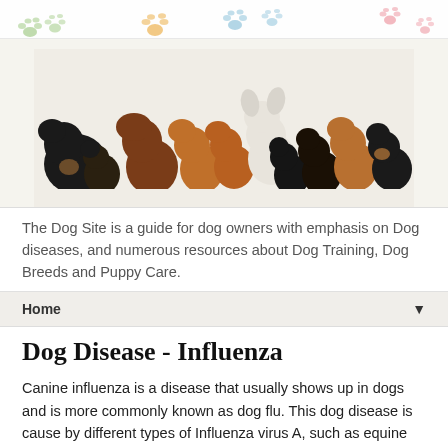[Figure (illustration): Colorful paw print decorations on a white banner background — green, orange, pink, blue paw prints scattered across the top header area.]
[Figure (photo): A group photo of multiple puppies and small dogs of various breeds (including a French Bulldog, Dogue de Bordeaux, Cavalier King Charles Spaniel, and others) posed together against a white background.]
The Dog Site is a guide for dog owners with emphasis on Dog diseases, and numerous resources about Dog Training, Dog Breeds and Puppy Care.
Home ▼
Dog Disease - Influenza
Canine influenza is a disease that usually shows up in dogs and is more commonly known as dog flu. This dog disease is cause by different types of Influenza virus A, such as equine